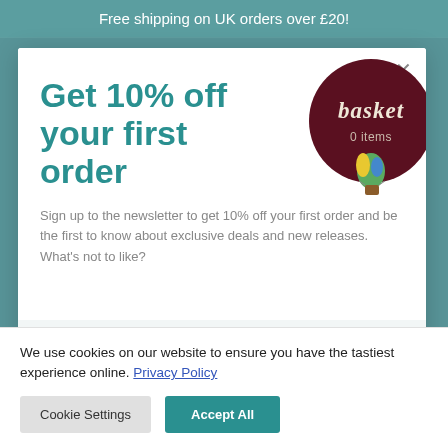Free shipping on UK orders over £20!
Get 10% off your first order
[Figure (illustration): Hot air balloon shaped badge with dark red/maroon background. Text 'basket' in large italic cream lettering and '0 items' below in smaller cream text. A small colourful hot air balloon illustration underneath.]
Sign up to the newsletter to get 10% off your first order and be the first to know about exclusive deals and new releases. What's not to like?
Email address
We use cookies on our website to ensure you have the tastiest experience online. Privacy Policy
Cookie Settings
Accept All